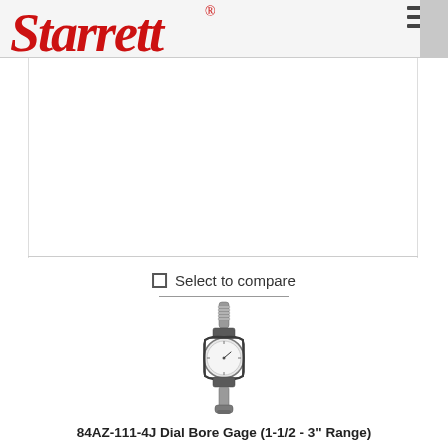Starrett®
Select to compare
[Figure (photo): Starrett 84AZ-111-4J Dial Bore Gage with dial indicator in center, extending probe assembly, and contact points at both ends]
84AZ-111-4J Dial Bore Gage (1-1/2 - 3" Range)